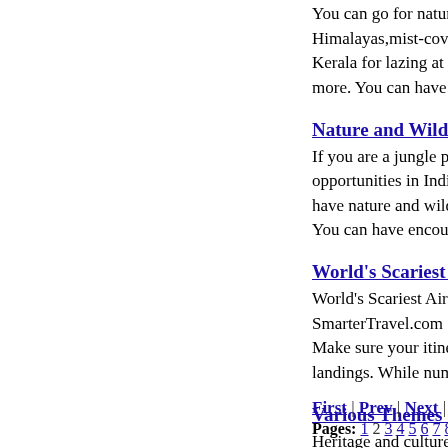You can go for nature tours in India at diffe... Himalayas,mist-covered hill station of Oot... Kerala for lazing at its beaches watching th... more. You can have the most beautiful tim...
Nature and Wildlife tours in India
If you are a jungle person and love treading... opportunities in India. India is home to sev... have nature and wildlife tour. There is vast... You can have encounter with White Tiger d...
World's Scariest Airports
World's Scariest Airports July 31, 2010 by... SmarterTravel.com Staff Looking for a wh... Make sure your itinerary includes one of th... landings. While numerous regulations are i...
Various Themes of India Travel Package
Heritage and culture These travel packages... history such as Rajasthan,Madhya Pradesh... old magic of historical palaces,temples, for... the old architecture, interact with craftsmen...
First | Prev | Next | Last
Pages: 1 2 3 4 5 6 7 8 9 10